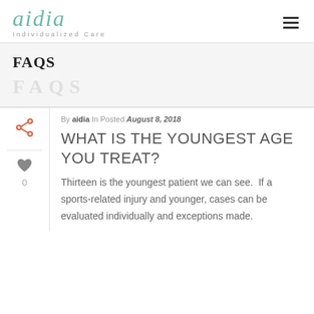[Figure (logo): aidia Individualized Care logo in teal/green color with italic serif font]
FAQS
By aidia In Posted August 8, 2018
WHAT IS THE YOUNGEST AGE YOU TREAT?
Thirteen is the youngest patient we can see.  If a sports-related injury and younger, cases can be evaluated individually and exceptions made.